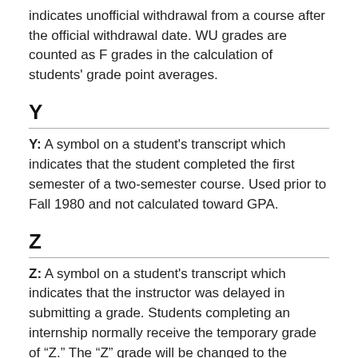indicates unofficial withdrawal from a course after the official withdrawal date. WU grades are counted as F grades in the calculation of students' grade point averages.
Y
Y: A symbol on a student's transcript which indicates that the student completed the first semester of a two-semester course. Used prior to Fall 1980 and not calculated toward GPA.
Z
Z: A symbol on a student's transcript which indicates that the instructor was delayed in submitting a grade. Students completing an internship normally receive the temporary grade of “Z.” The “Z” grade will be changed to the student’s correct grade by the session following the